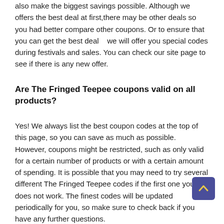also make the biggest savings possible. Although we offers the best deal at first,there may be other deals so you had better compare other coupons. Or to ensure that you can get the best deal   we will offer you special codes during festivals and sales. You can check our site page to see if there is any new offer.
Are The Fringed Teepee coupons valid on all products?
Yes! We always list the best coupon codes at the top of this page, so you can save as much as possible. However, coupons might be restricted, such as only valid for a certain number of products or with a certain amount of spending. It is possible that you may need to try several different The Fringed Teepee codes if the first one you try does not work. The finest codes will be updated periodically for you, so make sure to check back if you have any further questions.